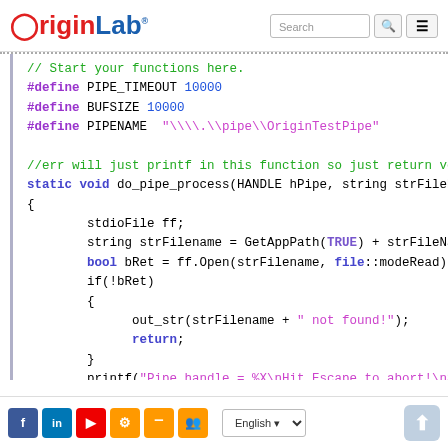OriginLab [logo] Search
[Figure (screenshot): Code editor showing C++ code with syntax highlighting for pipe_process function]
Social icons | English language selector | scroll-to-top button